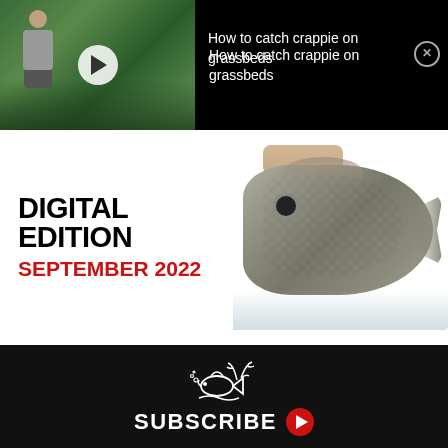[Figure (screenshot): Video thumbnail showing a person on a boat in a waterway with dense aquatic vegetation, with a white play button overlay. Black background panel with video title text and close button.]
How to catch crappie on grassbeds
[Figure (infographic): Digital Edition advertisement with bold black text 'DIGITAL EDITION' and red text 'SEPTEMBER 2022', alongside a photo of a hand holding a crappie fish over water.]
[Figure (infographic): Black subscribe banner with white illustrated fish and deer antler logo above the word SUBSCRIBE in white bold text with a red play button icon.]